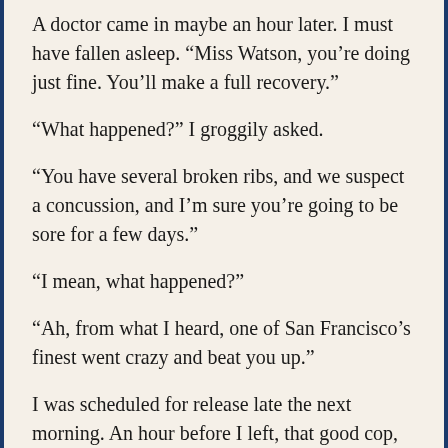A doctor came in maybe an hour later. I must have fallen asleep. “Miss Watson, you’re doing just fine. You’ll make a full recovery.”
“What happened?” I groggily asked.
“You have several broken ribs, and we suspect a concussion, and I’m sure you’re going to be sore for a few days.”
“I mean, what happened?”
“Ah, from what I heard, one of San Francisco’s finest went crazy and beat you up.”
I was scheduled for release late the next morning. An hour before I left, that good cop, Zack, came by